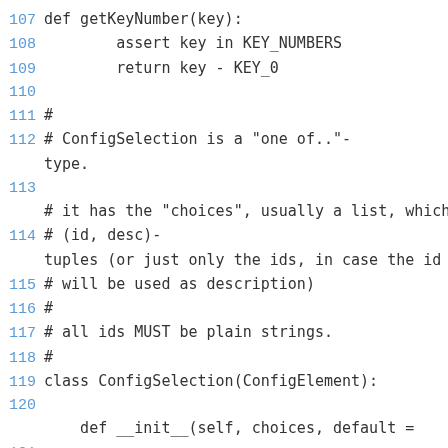107 def getKeyNumber(key):
108     assert key in KEY_NUMBERS
109     return key - KEY_0
110
111 #
112 # ConfigSelection is a "one of.."-type.
113
# it has the "choices", usually a list, which
114 # (id, desc)-tuples (or just only the ids, in case the id
115 # will be used as description)
116 #
117 # all ids MUST be plain strings.
118 #
119 class ConfigSelection(ConfigElement):
120
    def __init__(self, choices, default =
121
        ConfigElement.__init__(self)